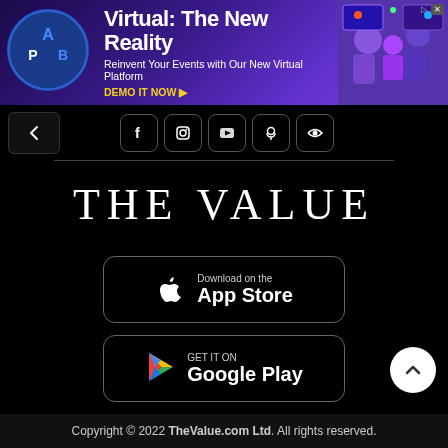[Figure (illustration): APB advertisement banner: 'Virtual: The New Reality - Reinvent Your Events with Our New Virtual Platform. DEMO IT NOW >' with APB logo and colorful illustration of virtual event people on right side.]
[Figure (illustration): Navigation bar with back arrow button on left and social media icons (Facebook, Instagram, YouTube, Podcast, Eye/Quibi) in rounded square buttons on center-right.]
THE VALUE
[Figure (illustration): App Store download button with Apple logo icon and text 'Download on the App Store']
[Figure (illustration): Google Play download button with Play Store triangle logo and text 'GET IT ON Google Play']
⚙ Direct Download
Contact Us
Recruitment
Privacy Policy
Copyright © 2022 TheValue.com Ltd. All rights reserved.